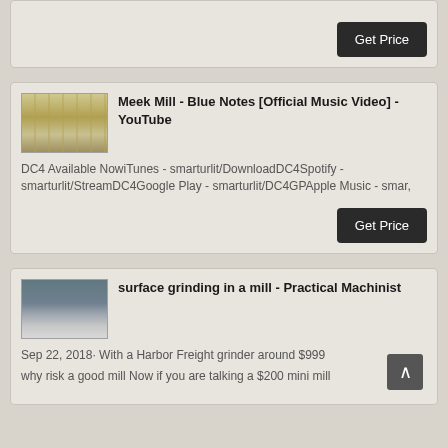[Figure (screenshot): Top card showing partial 'Get Price' button on dark background]
[Figure (photo): Thumbnail image of industrial mill equipment]
Meek Mill - Blue Notes [Official Music Video] - YouTube
DC4 Available NowiTunes - smarturlit/DownloadDC4Spotify - smarturlit/StreamDC4Google Play - smarturlit/DC4GPApple Music - smar,
[Figure (photo): Thumbnail image of surface grinding mill industrial equipment]
surface grinding in a mill - Practical Machinist
Sep 22, 2018· With a Harbor Freight grinder around $999 why risk a good mill Now if you are talking a $200 mini mill